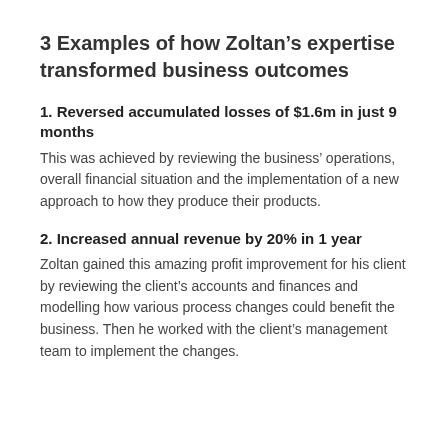3 Examples of how Zoltan’s expertise transformed business outcomes
1. Reversed accumulated losses of $1.6m in just 9 months
This was achieved by reviewing the business’ operations, overall financial situation and the implementation of a new approach to how they produce their products.
2. Increased annual revenue by 20% in 1 year
Zoltan gained this amazing profit improvement for his client by reviewing the client’s accounts and finances and modelling how various process changes could benefit the business. Then he worked with the client’s management team to implement the changes.